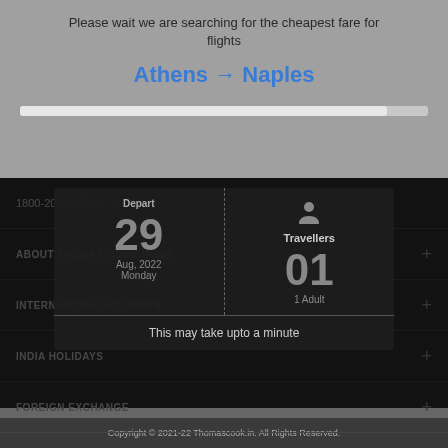Please wait we are searching for the cheapest fare for flights
Athens → Naples
[Figure (screenshot): Progress bar showing loading state]
1800-2099-100   Toll Free No.
ABOUT THOMAS COOK INDIA
INTERNATIONAL HOLIDAYS
INDIA HOLIDAYS
FOREIGN EXCHANGE
VISA
Depart
29
Aug, 2022
Monday
Travellers
01
1 Adult
This may take upto a minute
Copyright © 2021-22 Thomascook.in. All Rights Reserved.